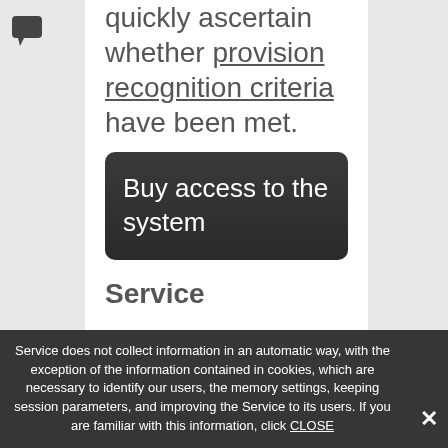[Figure (other): Chat bubble icon in top left sidebar]
quickly ascertain whether provision recognition criteria have been met.
Buy access to the system
Service
Service does not collect information in an automatic way, with the exception of the information contained in cookies, which are necessary to identify our users, the memory settings, keeping session parameters, and improving the Service to its users. If you are familiar with this information, click CLOSE